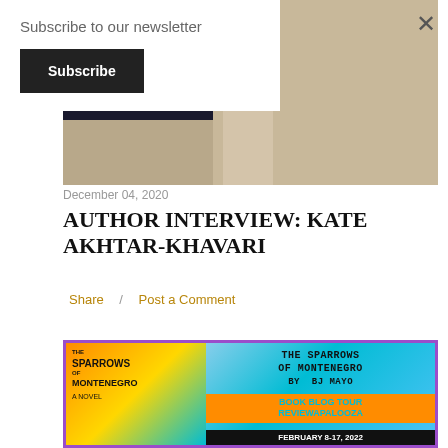Subscribe to our newsletter
Subscribe
×
[Figure (photo): Partial view of a building exterior with dark doorway and stone/marble column]
December 04, 2020
AUTHOR INTERVIEW: KATE AKHTAR-KHAVARI
Share  /  Post a Comment
[Figure (illustration): Book blog tour promotional banner for 'The Sparrows of Montenegro' by BJ Mayo. Reviewapalooza, February 8-17, 2022. Purple border, orange and teal color scheme with book cover on left.]